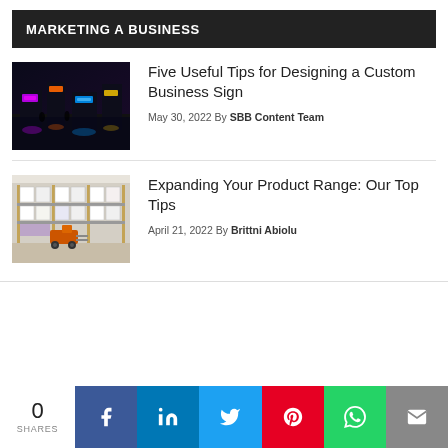MARKETING A BUSINESS
Five Useful Tips for Designing a Custom Business Sign
May 30, 2022 By SBB Content Team
[Figure (photo): Nighttime street scene with neon signs illuminating a busy urban area]
Expanding Your Product Range: Our Top Tips
April 21, 2022 By Brittni Abiolu
[Figure (photo): Warehouse interior with stacked boxes on shelves and an orange forklift]
0 SHARES